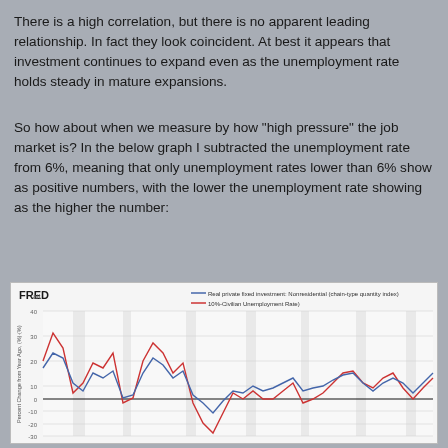There is a high correlation, but there is no apparent leading relationship. In fact they look coincident. At best it appears that investment continues to expand even as the unemployment rate holds steady in mature expansions.
So how about when we measure by how "high pressure" the job market is? In the below graph I subtracted the unemployment rate from 6%, meaning that only unemployment rates lower than 6% show as positive numbers, with the lower the unemployment rate showing as the higher the number:
[Figure (continuous-plot): FRED line chart showing two series over time: Real private fixed investment: Nonresidential (chain-type quantity index) in blue, and 10%-Civilian Unemployment Rate in red. Y-axis labeled 'Percent Change from Year Ago, (%)-(%)' ranging from about -30 to 40. The lines fluctuate cyclically with high correlation.]